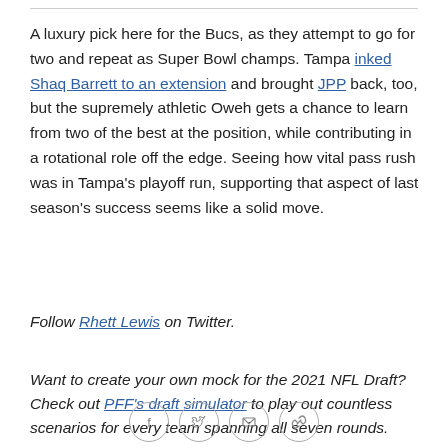A luxury pick here for the Bucs, as they attempt to go for two and repeat as Super Bowl champs. Tampa inked Shaq Barrett to an extension and brought JPP back, too, but the supremely athletic Oweh gets a chance to learn from two of the best at the position, while contributing in a rotational role off the edge. Seeing how vital pass rush was in Tampa's playoff run, supporting that aspect of last season's success seems like a solid move.
Follow Rhett Lewis on Twitter.
Want to create your own mock for the 2021 NFL Draft? Check out PFF's draft simulator to play out countless scenarios for every team spanning all seven rounds.
[Figure (other): Social sharing icons: Facebook, Twitter, Email, Link]